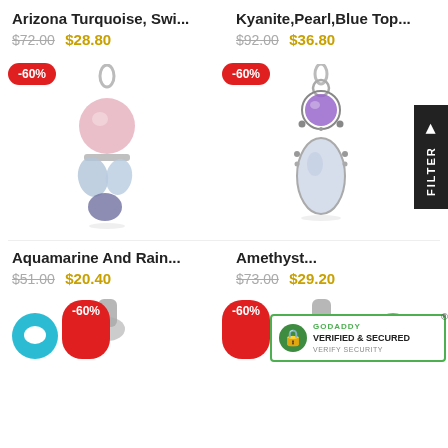Arizona Turquoise, Swi...
$72.00  $28.80
[Figure (photo): Silver pendant with pink rose quartz ball on top and aquamarine/sodalite stones below, -60% badge]
Kyanite,Pearl,Blue Top...
$92.00  $36.80
[Figure (photo): Silver pendant with purple amethyst and large oval moonstone, -60% badge]
Aquamarine And Rain...
$51.00  $20.40
Amethyst...
$73.00  $29.20
[Figure (photo): GoDaddy Verified & Secured badge overlay]
[Figure (photo): Bottom row jewelry pendants with -60% badges, chat button, scroll-to-top button]